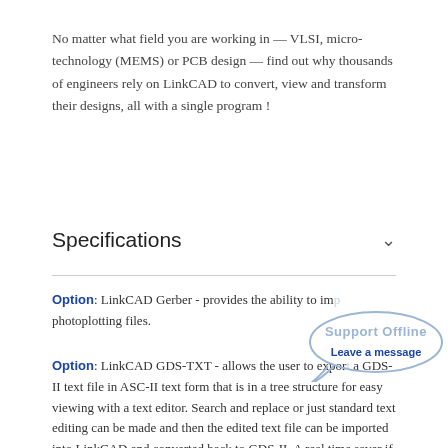No matter what field you are working in — VLSI, micro-technology (MEMS) or PCB design — find out why thousands of engineers rely on LinkCAD to convert, view and transform their designs, all with a single program !
Specifications
Option: LinkCAD Gerber - provides the ability to imp photoplotting files.
[Figure (illustration): Support Offline speech bubble overlay with text 'Support Offline' and 'Leave a message']
Option: LinkCAD GDS-TXT - allows the user to export a GDS-II text file in ASC-II text form that is in a tree structure for easy viewing with a text editor. Search and replace or just standard text editing can be made and then the edited text file can be imported into LinkCAD and converted back to GDS-II. A real time saver if just a few simple edits are needed.